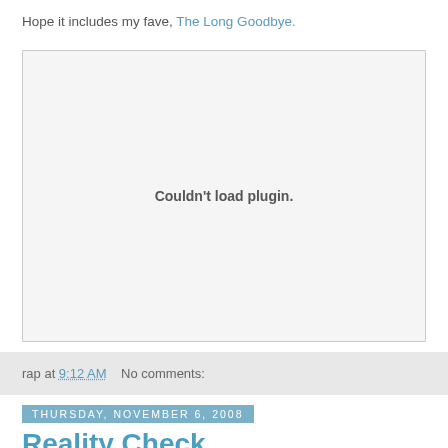Hope it includes my fave, The Long Goodbye.
[Figure (other): Plugin embed area showing 'Couldn't load plugin.' error message]
rap at 9:12 AM    No comments:
Thursday, November 6, 2008
Reality Check
[Figure (other): Bottom blue image bar, partially visible]